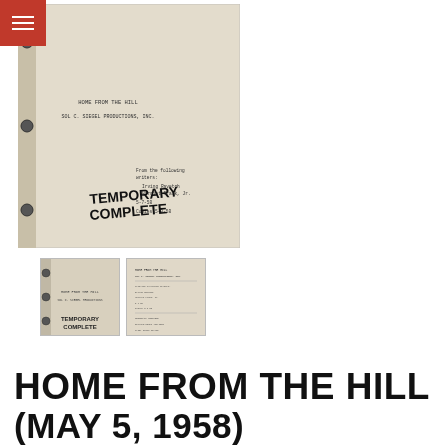[Figure (photo): Main image of a vintage film script cover for 'Home From the Hill' by Sol C. Siegel Productions, Inc. The script shows 'TEMPORARY COMPLETE' stamped on it, with writers Irving Ravetch and Harriet Frank Jr., dated 5-7-58, Copies 5-9-58. Bound with brass brads.]
[Figure (photo): Thumbnail image 1: front cover of the same script, smaller view]
[Figure (photo): Thumbnail image 2: interior page of the script showing typed text]
HOME FROM THE HILL (MAY 5, 1958)